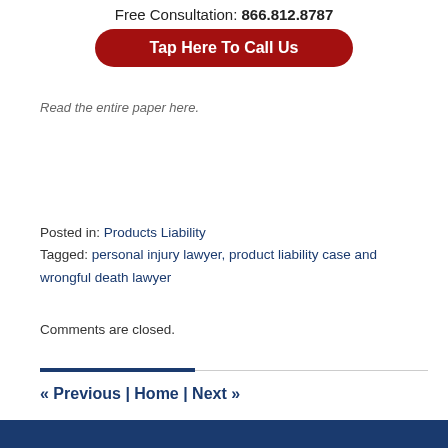Free Consultation: 866.812.8787
[Figure (other): Red rounded button with white text: Tap Here To Call Us]
Read the entire paper here.
Posted in: Products Liability
Tagged: personal injury lawyer, product liability case and wrongful death lawyer
Comments are closed.
« Previous | Home | Next »